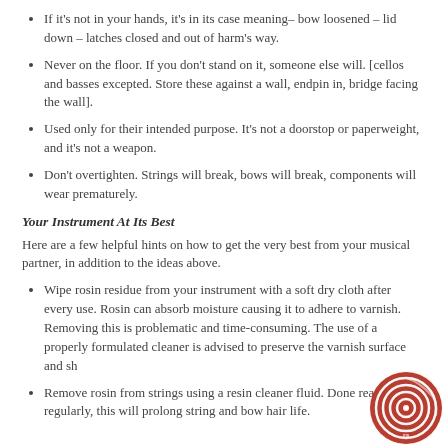If it's not in your hands, it's in its case meaning– bow loosened – lid down – latches closed and out of harm's way.
Never on the floor. If you don't stand on it, someone else will. [cellos and basses excepted. Store these against a wall, endpin in, bridge facing the wall].
Used only for their intended purpose. It's not a doorstop or paperweight, and it's not a weapon.
Don't overtighten. Strings will break, bows will break, components will wear prematurely.
Your Instrument At Its Best
Here are a few helpful hints on how to get the very best from your musical partner, in addition to the ideas above.
Wipe rosin residue from your instrument with a soft dry cloth after every use. Rosin can absorb moisture causing it to adhere to varnish. Removing this is problematic and time-consuming. The use of a properly formulated cleaner is advised to preserve the varnish surface and sh
Remove rosin from strings using a resin cleaner fluid. Done reasonably regularly, this will prolong string and bow hair life.
[Figure (logo): Circular red logo with spiral/concentric circle design, partially visible in bottom right corner]